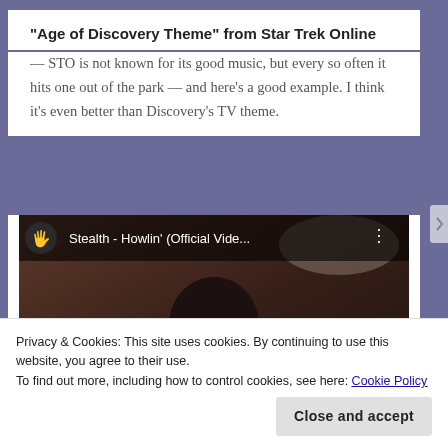“Age of Discovery Theme” from Star Trek Online
— STO is not known for its good music, but every so often it hits one out of the park — and here’s a good example. I think it’s even better than Discovery’s TV theme.
[Figure (screenshot): YouTube video thumbnail for 'Stealth - Howlin' (Official Vide...' with a red play button in the center, dark background showing a person's silhouette, and YouTube logo in the top-left corner.]
Privacy & Cookies: This site uses cookies. By continuing to use this website, you agree to their use.
To find out more, including how to control cookies, see here: Cookie Policy
Close and accept